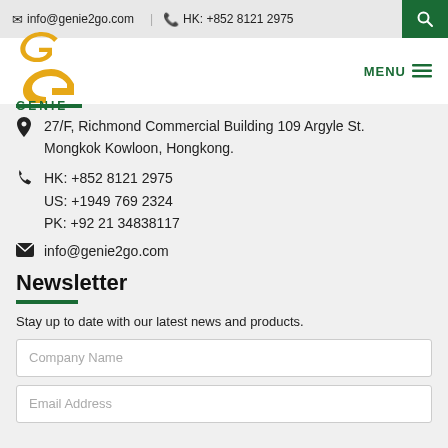info@genie2go.com | HK: +852 8121 2975
[Figure (logo): Genie2go logo: yellow G shape with GENIE text in green below]
27/F, Richmond Commercial Building 109 Argyle St. Mongkok Kowloon, Hongkong.
HK: +852 8121 2975
US: +1949 769 2324
PK: +92 21 34838117
info@genie2go.com
Newsletter
Stay up to date with our latest news and products.
Company Name
Email Address